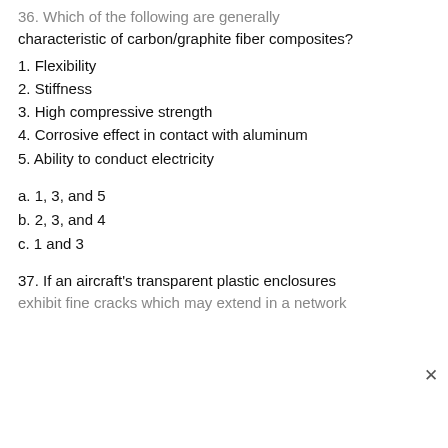36. Which of the following are generally characteristic of carbon/graphite fiber composites?
1. Flexibility
2. Stiffness
3. High compressive strength
4. Corrosive effect in contact with aluminum
5. Ability to conduct electricity
a. 1, 3, and 5
b. 2, 3, and 4
c. 1 and 3
37. If an aircraft's transparent plastic enclosures exhibit fine cracks which may extend in a network